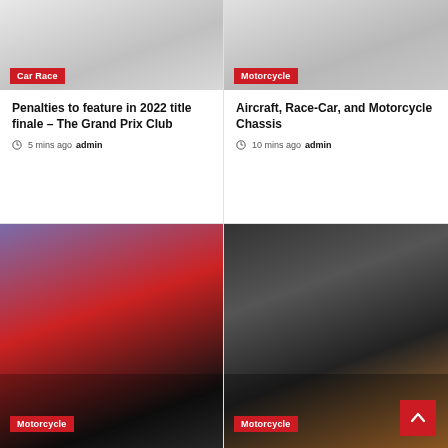[Figure (photo): Car race image cropped at top, showing car/wheels in grayscale]
Car Race
Penalties to feature in 2022 title finale – The Grand Prix Club
5 mins ago  admin
[Figure (photo): Motorcycle chassis image in grayscale showing wheels and frame]
Motorcycle
Aircraft, Race-Car, and Motorcycle Chassis
10 mins ago  admin
[Figure (photo): Red and purple Aprilia motorcycle racing bike in dramatic lighting]
Motorcycle
[Figure (photo): Three people standing in a garage with motorcycles in dark setting]
Motorcycle